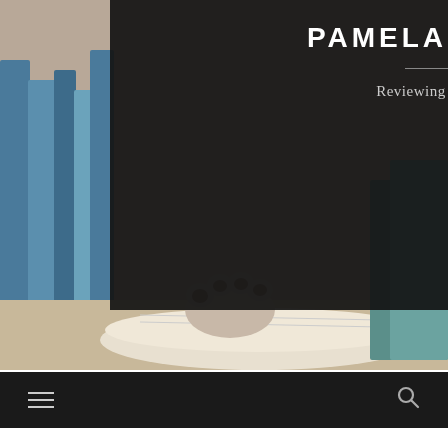[Figure (photo): Website header banner of pamelakramer.com showing a cat paw resting on books in the background with a dark overlay containing the site title and tagline, plus a navigation bar below]
PAMELAKRAMER.COM
Reviewing Books & Saving Animals
'The Alice Network' by Kate Quinn: Intriguing Historical Fiction Spy Novel Based on Little Known Facts